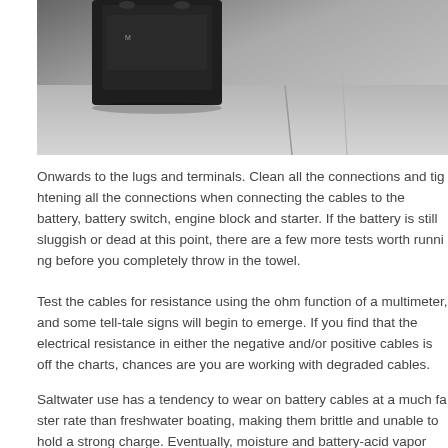[Figure (photo): A black battery photographed from above on a light gray tiled surface, showing the top and partial side of the battery unit.]
Onwards to the lugs and terminals. Clean all the connections and tightening all the connections when connecting the cables to the battery, battery switch, engine block and starter. If the battery is still sluggish or dead at this point, there are a few more tests worth running before you completely throw in the towel.
Test the cables for resistance using the ohm function of a multimeter, and some tell-tale signs will begin to emerge. If you find that the electrical resistance in either the negative and/or positive cables is off the charts, chances are you are working with degraded cables.
Saltwater use has a tendency to wear on battery cables at a much faster rate than freshwater boating, making them brittle and unable to hold a strong charge. Eventually, moisture and battery-acid vapor have worked their way through your cables until your wiring becomes frail with black corrosion, effectively zapping yo